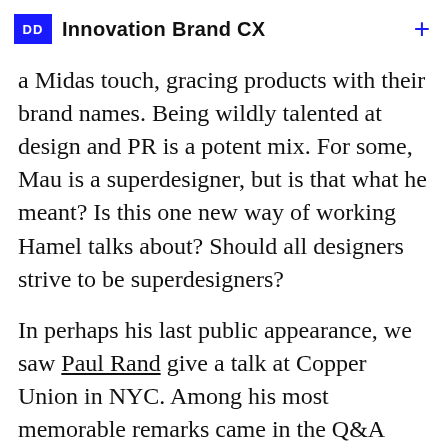Innovation Brand CX
a Midas touch, gracing products with their brand names. Being wildly talented at design and PR is a potent mix. For some, Mau is a superdesigner, but is that what he meant? Is this one new way of working Hamel talks about? Should all designers strive to be superdesigners?
In perhaps his last public appearance, we saw Paul Rand give a talk at Copper Union in NYC. Among his most memorable remarks came in the Q&A moderated by Stephen Heller, addressing originality in design: "Don't try be original, just try to be good. If you're original,